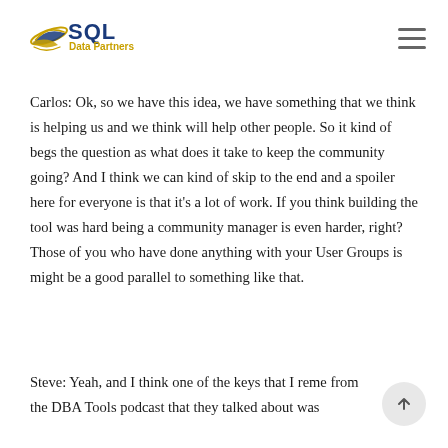[Figure (logo): SQL Data Partners logo with yellow/gold swoosh graphic and blue bold SQL text, with 'Data Partners' in gold below]
Carlos: Ok, so we have this idea, we have something that we think is helping us and we think will help other people. So it kind of begs the question as what does it take to keep the community going? And I think we can kind of skip to the end and a spoiler here for everyone is that it’s a lot of work. If you think building the tool was hard being a community manager is even harder, right? Those of you who have done anything with your User Groups is might be a good parallel to something like that.
Steve: Yeah, and I think one of the keys that I reme from the DBA Tools podcast that they talked about was